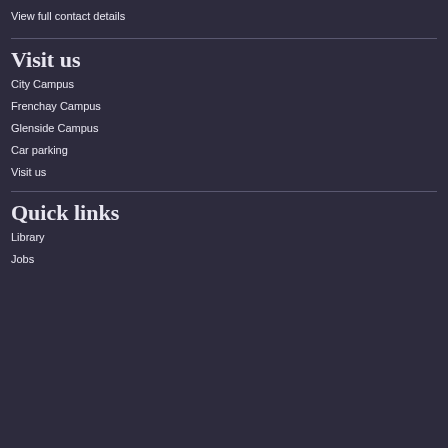View full contact details
Visit us
City Campus
Frenchay Campus
Glenside Campus
Car parking
Visit us
Quick links
Library
Jobs